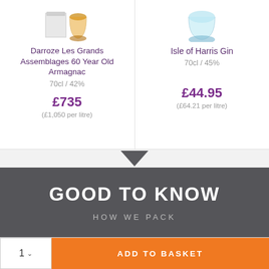Darroze Les Grands Assemblages 60 Year Old Armagnac
70cl / 42%
£735
(£1,050 per litre)
Isle of Harris Gin
70cl / 45%
£44.95
(£64.21 per litre)
GOOD TO KNOW
HOW WE PACK
1  ∨   ADD TO BASKET